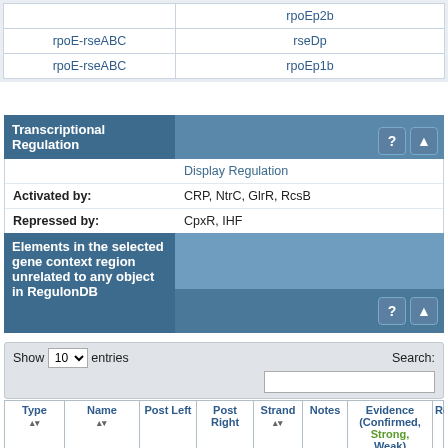|  |  |
| --- | --- |
| rpoE-rseABC | rpoEp2b |
| rpoE-rseABC | rseDp |
| rpoE-rseABC | rpoEp1b |
Transcriptional Regulation
|  | Display Regulation |
| --- | --- |
| Activated by: | CRP, NtrC, GlrR, RcsB |
| Repressed by: | CpxR, IHF |
Elements in the selected gene context region unrelated to any object in RegulonDB
| Type | Name | Post Left | Post Right | Strand | Notes | Evidence (Confirmed, Strong, Weak) | References |
| --- | --- | --- | --- | --- | --- | --- | --- |